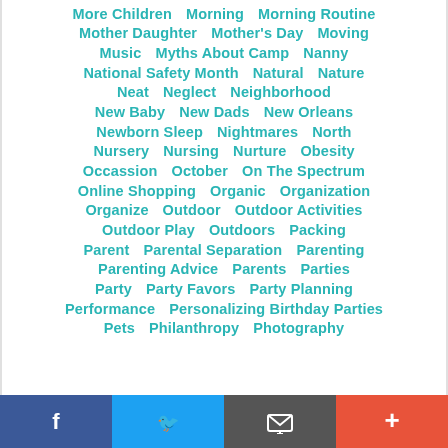More Children   Morning   Morning Routine
Mother Daughter   Mother's Day   Moving
Music   Myths About Camp   Nanny
National Safety Month   Natural   Nature
Neat   Neglect   Neighborhood
New Baby   New Dads   New Orleans
Newborn Sleep   Nightmares   North
Nursery   Nursing   Nurture   Obesity
Occassion   October   On The Spectrum
Online Shopping   Organic   Organization
Organize   Outdoor   Outdoor Activities
Outdoor Play   Outdoors   Packing
Parent   Parental Separation   Parenting
Parenting Advice   Parents   Parties
Party   Party Favors   Party Planning
Performance   Personalizing Birthday Parties
Pets   Philanthropy   Photography
Facebook  Twitter  Email  Plus